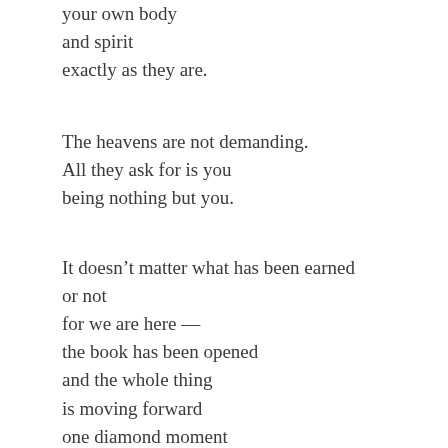your own body
and spirit
exactly as they are.
The heavens are not demanding.
All they ask for is you
being nothing but you.
It doesn't matter what has been earned
or not
for we are here —
the book has been opened
and the whole thing
is moving forward
one diamond moment
at a time.